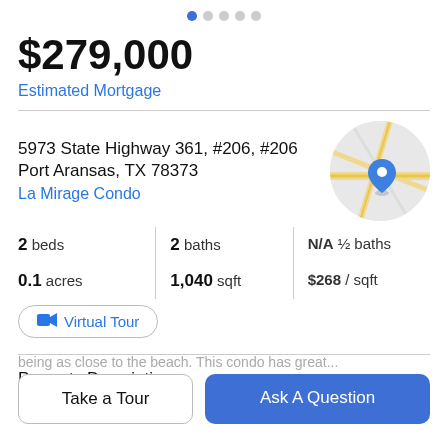$279,000
Estimated Mortgage
5973 State Highway 361, #206, #206
Port Aransas, TX 78373
La Mirage Condo
[Figure (map): Circular map thumbnail showing street map with a blue location pin marker]
2 beds | 2 baths | N/A ½ baths
0.1 acres | 1,040 sqft | $268 / sqft
Virtual Tour
Property Description
Take a Tour
Ask A Question